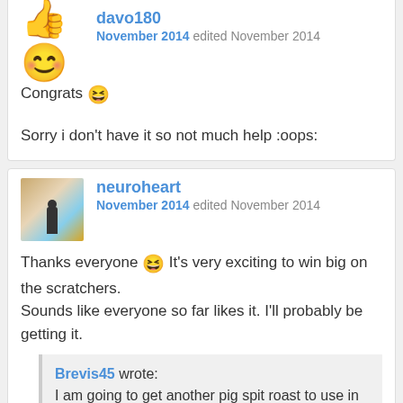davo180
November 2014 edited November 2014
Congrats 😆
Sorry i don't have it so not much help :oops:
neuroheart
November 2014 edited November 2014
Thanks everyone 😆 It's very exciting to win big on the scratchers.
Sounds like everyone so far likes it. I'll probably be getting it.
Brevis45 wrote: I am going to get another pig spit roast to use in the garden when I sort out my town after Christmas.
I'm sure that will look nice. (I'm unlikely to spend donuts on the